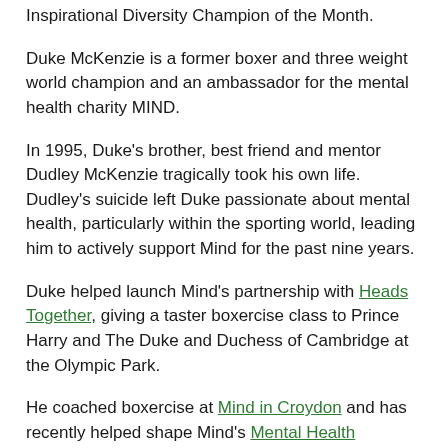Inspirational Diversity Champion of the Month.
Duke McKenzie is a former boxer and three weight world champion and an ambassador for the mental health charity MIND.
In 1995, Duke's brother, best friend and mentor Dudley McKenzie tragically took his own life. Dudley's suicide left Duke passionate about mental health, particularly within the sporting world, leading him to actively support Mind for the past nine years.
Duke helped launch Mind's partnership with Heads Together, giving a taster boxercise class to Prince Harry and The Duke and Duchess of Cambridge at the Olympic Park.
He coached boxercise at Mind in Croydon and has recently helped shape Mind's Mental Health Awareness for Sport and Physical Activity training, which he also helped launch in 2019.